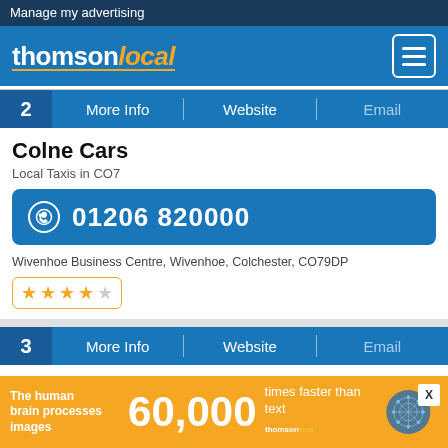Manage my advertising
[Figure (logo): Thomson Local logo with menu icon on blue background]
2  More Info  |  Website  |  Email
Colne Cars
Local Taxis in CO7
01206 820000
Wivenhoe Business Centre, Wivenhoe, Colchester, CO79DP
[Figure (other): 4 out of 5 star rating in orange stars with border]
3  More Info  |  Website  |  Email
V P Cars
Local Taxis in CO7
The human brain processes images 60,000 times faster than text